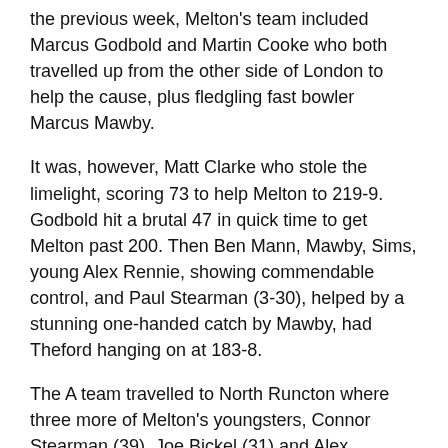the previous week, Melton's team included Marcus Godbold and Martin Cooke who both travelled up from the other side of London to help the cause, plus fledgling fast bowler Marcus Mawby.
It was, however, Matt Clarke who stole the limelight, scoring 73 to help Melton to 219-9. Godbold hit a brutal 47 in quick time to get Melton past 200. Then Ben Mann, Mawby, Sims, young Alex Rennie, showing commendable control, and Paul Stearman (3-30), helped by a stunning one-handed catch by Mawby, had Theford hanging on at 183-8.
The A team travelled to North Runcton where three more of Melton's youngsters, Connor Stearman (39), Joe Bickel (31) and Alex Tonnison with a breezy 20, showed good form with the bat but Melton's total of 166-9 was never likely to be quite enough. Bickel bowled well too but North Runcton scored 170-3 to